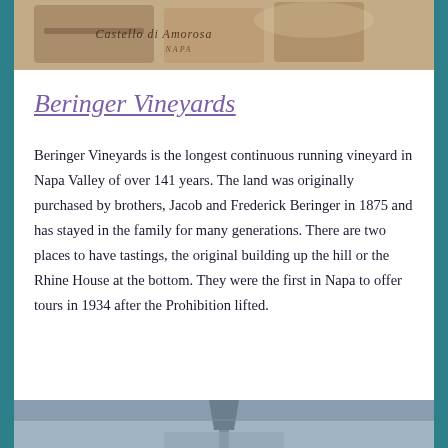[Figure (photo): Top portion of a photo showing wooden wine boxes, likely from Castello di Amorosa winery in Napa]
Beringer Vineyards
Beringer Vineyards is the longest continuous running vineyard in Napa Valley of over 141 years. The land was originally purchased by brothers, Jacob and Frederick Beringer in 1875 and has stayed in the family for many generations. There are two places to have tastings, the original building up the hill or the Rhine House at the bottom. They were the first in Napa to offer tours in 1934 after the Prohibition lifted.
[Figure (photo): Bottom portion of a photo showing a building or tower at Beringer Vineyards]